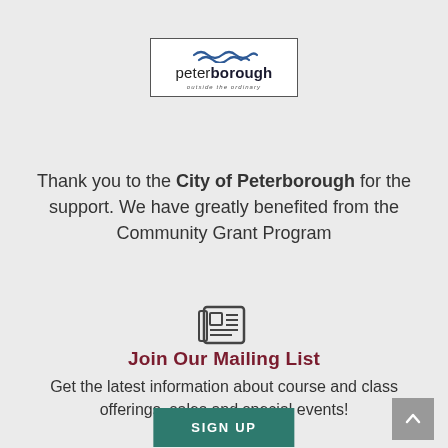[Figure (logo): Peterborough city logo — stylized wave lines above the text 'peterborough' with tagline 'outside the ordinary' in a rectangular border]
Thank you to the City of Peterborough for the support. We have greatly benefited from the Community Grant Program
[Figure (illustration): Newspaper/mailing list icon — a square with two column lines inside]
Join Our Mailing List
Get the latest information about course and class offerings, sales and special events!
SIGN UP